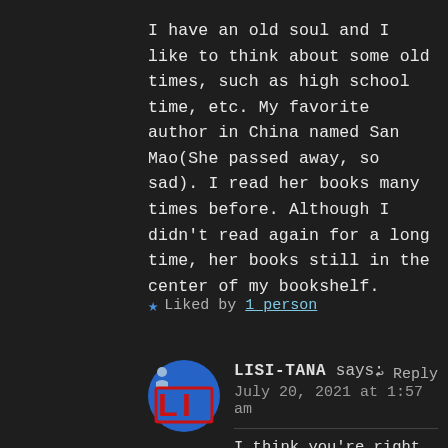I have an old soul and I like to think about some old times, such as high school time, etc. My favorite author in China named San Mao(She passed away, so sad). I read her books many times before. Although I didn't read again for a long time, her books still in the center of my bookshelf.
★ Liked by 1 person
LISI-TANA says:
July 20, 2021 at 1:57 am
Reply
I think you're right.